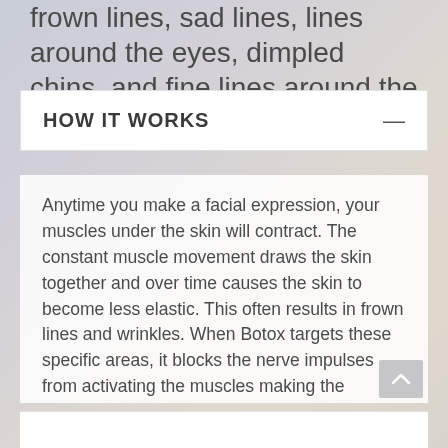frown lines, sad lines, lines around the eyes, dimpled chins, and fine lines around the lips.
HOW IT WORKS
Anytime you make a facial expression, your muscles under the skin will contract. The constant muscle movement draws the skin together and over time causes the skin to become less elastic. This often results in frown lines and wrinkles. When Botox targets these specific areas, it blocks the nerve impulses from activating the muscles making the appearance of the skin above to be relaxed. In some cases with repeated treatments, the wrinkles can disappear.